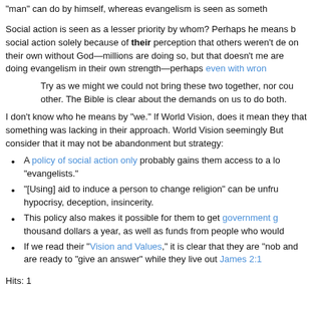“man” can do by himself, whereas evangelism is seen as someth
Social action is seen as a lesser priority by whom?  Perhaps he means b social action solely because of their perception that others weren’t de on their own without God—millions are doing so, but that doesn’t me are doing evangelism in their own strength—perhaps even with wron
Try as we might we could not bring these two together, nor cou other.  The Bible is clear about the demands on us to do both.
I don’t know who he means by “we.”  If World Vision, does it mean they that something was lacking in their approach.  World Vision seemingly But consider that it may not be abandonment but strategy:
A policy of social action only probably gains them access to a lo “evangelists.”
“[Using] aid to induce a person to change religion” can be unfru hypocrisy, deception, insincerity.
This policy also makes it possible for them to get government g thousand dollars a year, as well as funds from people who would
If we read their “Vision and Values,” it is clear that they are “nob and are ready to “give an answer” while they live out James 2:1
Hits: 1